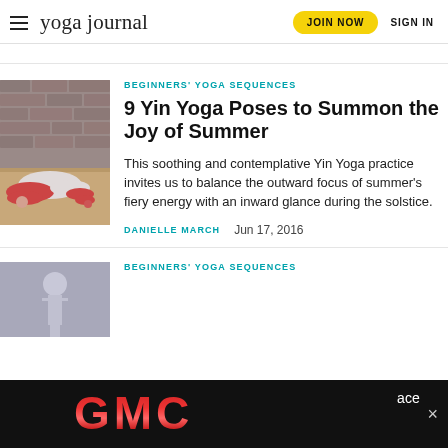yoga journal | JOIN NOW | SIGN IN
BEGINNERS' YOGA SEQUENCES
9 Yin Yoga Poses to Summon the Joy of Summer
This soothing and contemplative Yin Yoga practice invites us to balance the outward focus of summer's fiery energy with an inward glance during the solstice.
DANIELLE MARCH   Jun 17, 2016
BEGINNERS' YOGA SEQUENCES
[Figure (photo): GMC advertisement banner at the bottom of the page]
[Figure (photo): Thumbnail photo of a person in a yoga pose (child's pose), seen from the side on a wooden floor against a brick wall]
[Figure (photo): Thumbnail of a person in a yoga pose, second article]